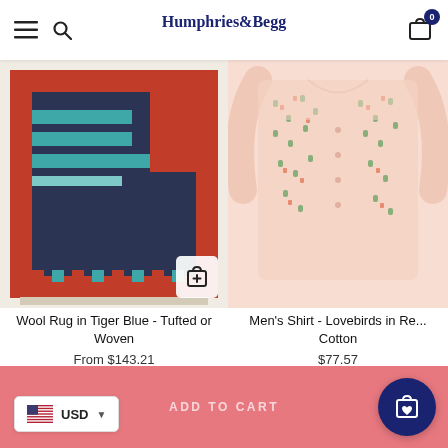Humphries & Begg — navigation header with hamburger menu, search icon, logo, and cart icon (0 items)
[Figure (photo): Wool rug with geometric blue, teal, red and dark navy stripe pattern laid flat, with fringe at bottom edge. An 'add to bag' icon is shown in the lower right corner of the image.]
Wool Rug in Tiger Blue - Tufted or Woven
From $143.21
[Figure (photo): Men's long-sleeve shirt with small multicolor lovebird print on a light pink/peach background, partially folded.]
Men's Shirt - Lovebirds in Re... Cotton
$77.57
ADD TO CART — footer bar with USD currency selector and cart FAB button